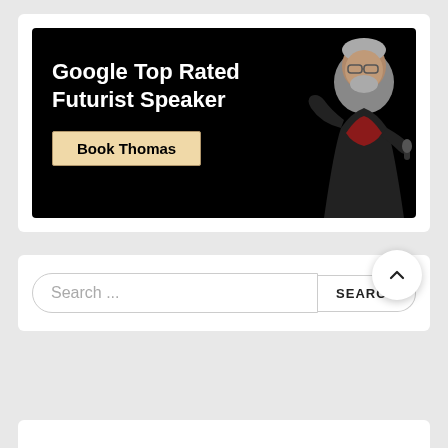[Figure (photo): Banner image with black background showing a man (futurist speaker Thomas) gesturing while speaking, with white bold text reading 'Google Top Rated Futurist Speaker' and a button labeled 'Book Thomas' in a tan/beige box with border.]
Search ...
SEARCH